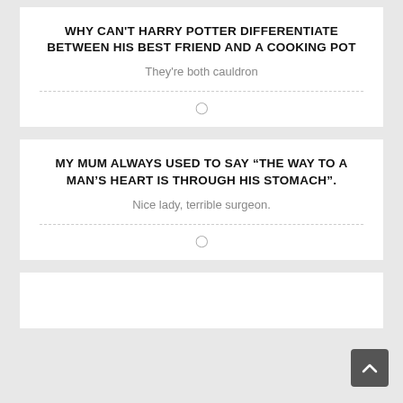WHY CAN'T HARRY POTTER DIFFERENTIATE BETWEEN HIS BEST FRIEND AND A COOKING POT
They're both cauldron
MY MUM ALWAYS USED TO SAY “THE WAY TO A MAN’S HEART IS THROUGH HIS STOMACH”.
Nice lady, terrible surgeon.